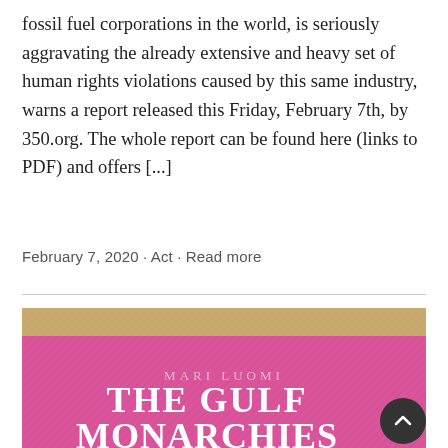fossil fuel corporations in the world, is seriously aggravating the already extensive and heavy set of human rights violations caused by this same industry, warns a report released this Friday, February 7th, by 350.org. The whole report can be found here (links to PDF) and offers [...]
February 7, 2020 · Act · Read more
[Figure (photo): Book cover image showing 'THE GULF MONARCHIES' by Mari Luomi, with a pink/magenta textured background and gold/tan band at the top]